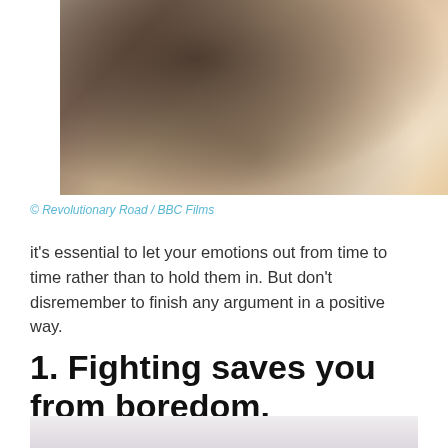[Figure (photo): A couple embracing and kissing, one person with dark hair wearing a grey/dark outfit, the other with blonde hair in a dark top. Cropped close-up shot from a movie scene.]
© Revolutionary Road / BBC Films
it's essential to let your emotions out from time to time rather than to hold them in. But don't disremember to finish any argument in a positive way.
1. Fighting saves you from boredom.
[Figure (photo): Partial photo visible at bottom of page, light tones with soft blurred background.]